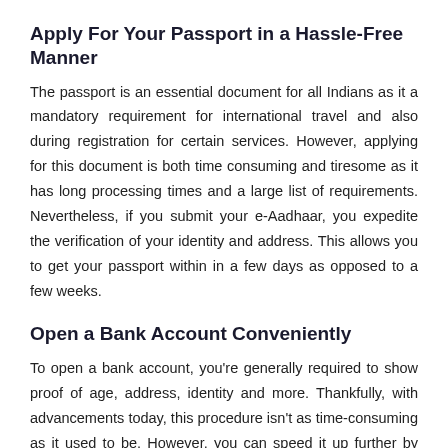Apply For Your Passport in a Hassle-Free Manner
The passport is an essential document for all Indians as it a mandatory requirement for international travel and also during registration for certain services. However, applying for this document is both time consuming and tiresome as it has long processing times and a large list of requirements. Nevertheless, if you submit your e-Aadhaar, you expedite the verification of your identity and address. This allows you to get your passport within in a few days as opposed to a few weeks.
Open a Bank Account Conveniently
To open a bank account, you're generally required to show proof of age, address, identity and more. Thankfully, with advancements today, this procedure isn't as time-consuming as it used to be. However, you can speed it up further by submitting your e-Aadhaar at the time of application as this document contains all the necessary information. The upside being that this data is